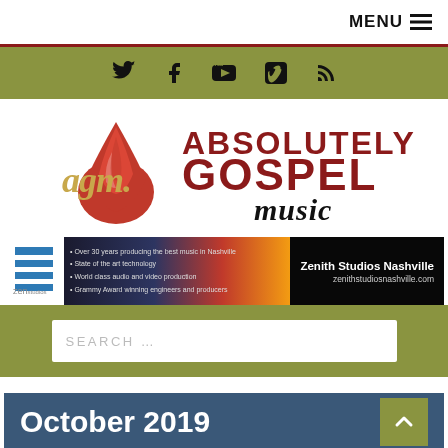MENU
[Figure (screenshot): Social media icons: Twitter, Facebook, YouTube, Vimeo, RSS feed on olive/green background]
[Figure (logo): Absolutely Gospel Music logo with red flame/drop and red/dark-red text]
[Figure (screenshot): Zenith Studios Nashville advertisement banner with logo, bullet points, and website URL zenithstudiosnashville.com]
SEARCH ...
October 2019